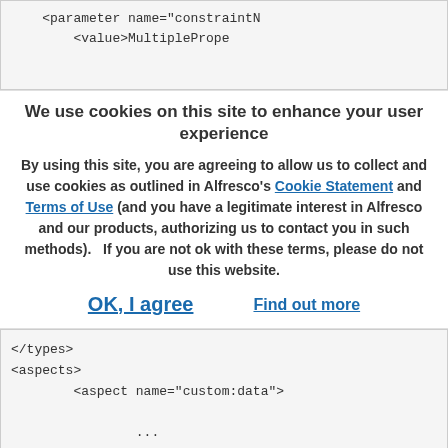<parameter name="constraintN
    <value>MultiplePrope
We use cookies on this site to enhance your user experience
By using this site, you are agreeing to allow us to collect and use cookies as outlined in Alfresco's Cookie Statement and Terms of Use (and you have a legitimate interest in Alfresco and our products, authorizing us to contact you in such methods).   If you are not ok with these terms, please do not use this website.
OK, I agree    Find out more
</types>
<aspects>
        <aspect name="custom:data">

                ...

                <properties>